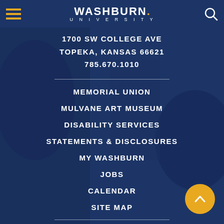Washburn University navigation header with hamburger menu and search icon
1700 SW COLLEGE AVE
TOPEKA, KANSAS 66621
785.670.1010
MEMORIAL UNION
MULVANE ART MUSEUM
DISABILITY SERVICES
STATEMENTS & DISCLOSURES
MY WASHBURN
JOBS
CALENDAR
SITE MAP